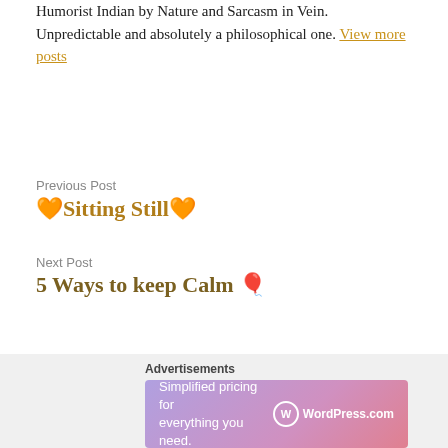Humorist Indian by Nature and Sarcasm in Vein. Unpredictable and absolutely a philosophical one. View more posts
Previous Post
🧡Sitting Still🧡
Next Post
5 Ways to keep Calm 🎈
Advertisements
[Figure (screenshot): WordPress.com advertisement banner: 'Simplified pricing for everything you need.' with WordPress.com logo on gradient purple-pink background]